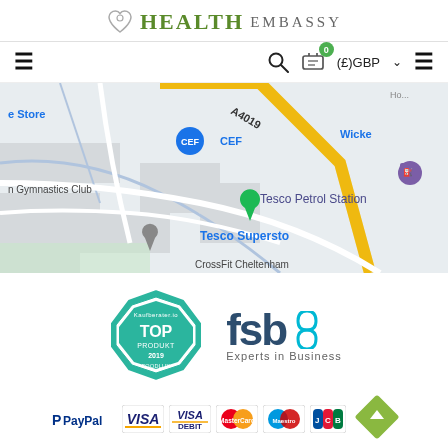[Figure (logo): Health Embassy logo with heart icon, HEALTH in bold green serif and EMBASSY in grey]
[Figure (screenshot): Website navigation bar with hamburger menu, search icon, cart with badge 0, (£)GBP currency selector, and menu icon]
[Figure (map): Google Maps screenshot showing area with A4019 road, CEF, Tesco Petrol Station, Tesco Superstore, CrossFit Cheltenham, and Gymnastics Club markers]
[Figure (logo): Kaufberater.io TOP PRODUKT 2019 FOODLUX teal badge and FSB Experts in Business logo]
[Figure (logo): Payment icons: PayPal, VISA, VISA Debit, MasterCard, Maestro, JCB]